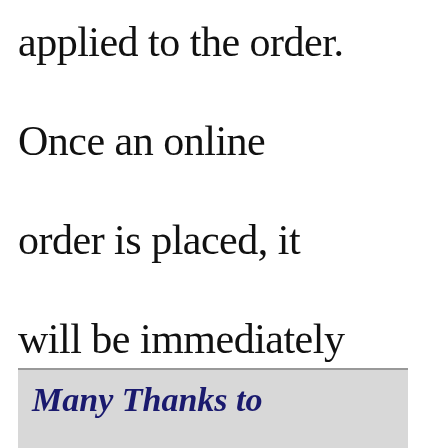applied to the order. Once an online order is placed, it will be immediately processed and released to Bittele's production team...
Many Thanks to MRDevice for